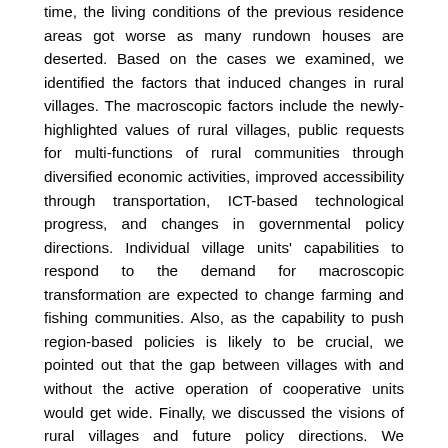time, the living conditions of the previous residence areas got worse as many rundown houses are deserted. Based on the cases we examined, we identified the factors that induced changes in rural villages. The macroscopic factors include the newly-highlighted values of rural villages, public requests for multi-functions of rural communities through diversified economic activities, improved accessibility through transportation, ICT-based technological progress, and changes in governmental policy directions. Individual village units' capabilities to respond to the demand for macroscopic transformation are expected to change farming and fishing communities. Also, as the capability to push region-based policies is likely to be crucial, we pointed out that the gap between villages with and without the active operation of cooperative units would get wide. Finally, we discussed the visions of rural villages and future policy directions. We visioned the status of rural communities as a base for comfortable residence. Also, as the roles of rural communities will be crucial for land management, we emphasized that rural residents should lead activities to revive the environment and traditional culture. Besides, this study suggested, as one of the visions of rural communities, that they should play new roles in